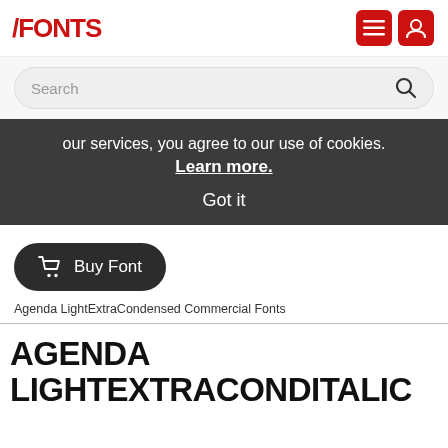FONTS
Search
our services, you agree to our use of cookies. Learn more. Got it
Buy Font
Agenda LightExtraCondensed Commercial Fonts
AGENDA LIGHTEXTRACONDITALIC